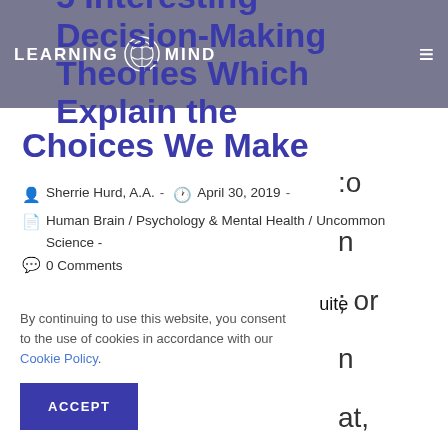LEARNING MIND — navigation header with logo and hamburger menu
5 Interesting Decision-Making Theories Which Explain the Choices We Make
Sherrie Hurd, A.A. · April 30, 2019
Human Brain / Psychology & Mental Health / Uncommon Science -
0 Comments
Decision-making theories come are quite
By continuing to use this website, you consent to the use of cookies in accordance with our Cookie Policy.
ACCEPT